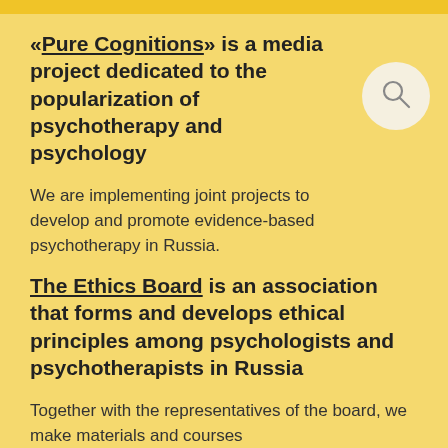«Pure Cognitions» is a media project dedicated to the popularization of psychotherapy and psychology
We are implementing joint projects to develop and promote evidence-based psychotherapy in Russia.
[Figure (illustration): Search icon (magnifying glass) inside a light circular background]
The Ethics Board is an association that forms and develops ethical principles among psychologists and psychotherapists in Russia
Together with the representatives of the board, we make materials and courses for…